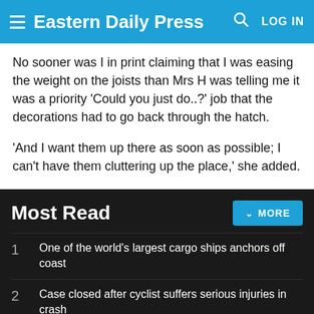Eastern Daily Press
No sooner was I in print claiming that I was easing the weight on the joists than Mrs H was telling me it was a priority 'Could you just do..?' job that the decorations had to go back through the hatch.
'And I want them up there as soon as possible; I can't have them cluttering up the place,' she added.
Most Read
1 One of the world's largest cargo ships anchors off coast
2 Case closed after cyclist suffers serious injuries in crash
3 Town's high street closed due to power cut